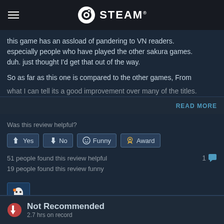STEAM
this game has an assload of pandering to VN readers. especially people who have played the other sakura games. duh. just thought I'd get that out of the way.

So as far as this one is compared to the other games, From what I can tell its a good improvement over many of the titles.
READ MORE
Was this review helpful?
Yes  No  Funny  Award
51 people found this review helpful
19 people found this review funny
[Figure (illustration): Small pixel art avatar icon showing a ghost character with orange accent on dark blue background]
Not Recommended
2.7 hrs on record